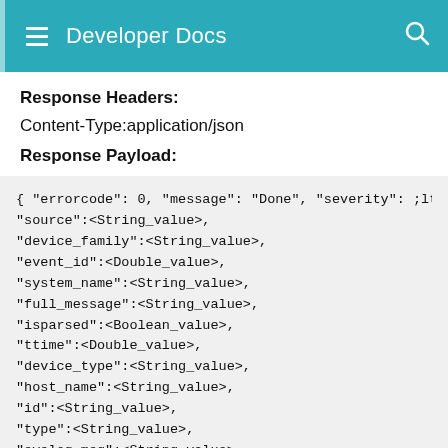Developer Docs
Response Headers:
Content-Type:application/json
Response Payload:
{ "errorcode": 0, "message": "Done", "severity": ;ltS
"source":<String_value>,
"device_family":<String_value>,
"event_id":<Double_value>,
"system_name":<String_value>,
"full_message":<String_value>,
"isparsed":<Boolean_value>,
"ttime":<Double_value>,
"device_type":<String_value>,
"host_name":<String_value>,
"id":<String_value>,
"type":<String_value>,
"syslog_msg":<String_value>,